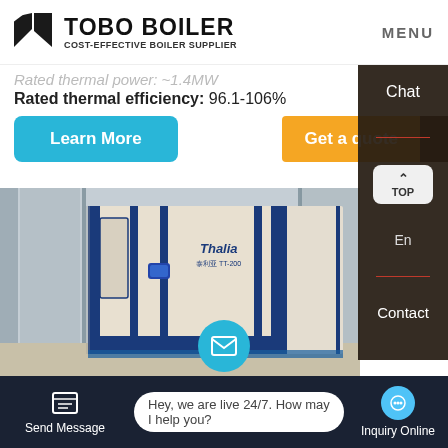[Figure (logo): TOBO BOILER logo with geometric arrow icon and tagline COST-EFFECTIVE BOILER SUPPLIER]
MENU
Rated thermal power: ~1.4MW (partially visible)
Rated thermal efficiency: 96.1-106%
Learn More
Get a quote
Chat
TOP
En
Contact
[Figure (photo): Industrial condensing gas boiler unit labeled Thalia in a modern facility with blue and white cabinet enclosure]
Send Message
Hey, we are live 24/7. How may I help you?
Inquiry Online